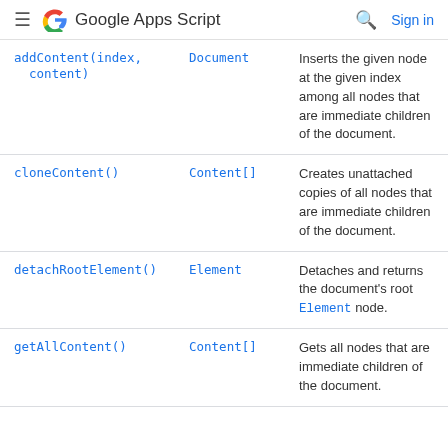Google Apps Script   Sign in
| Method | Return type | Description |
| --- | --- | --- |
| addContent(index, content) | Document | Inserts the given node at the given index among all nodes that are immediate children of the document. |
| cloneContent() | Content[] | Creates unattached copies of all nodes that are immediate children of the document. |
| detachRootElement() | Element | Detaches and returns the document's root Element node. |
| getAllContent() | Content[] | Gets all nodes that are immediate children of the document. |